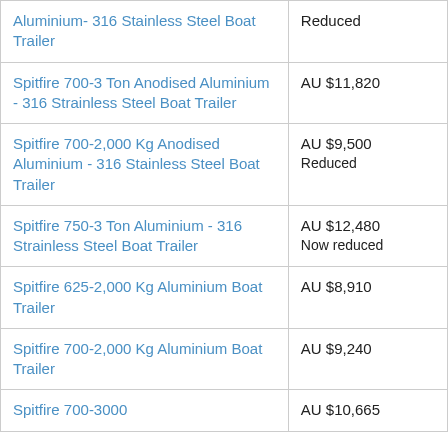| Product | Price |
| --- | --- |
| Aluminium- 316 Stainless Steel Boat Trailer | Reduced |
| Spitfire 700-3 Ton Anodised Aluminium - 316 Strainless Steel Boat Trailer | AU $11,820 |
| Spitfire 700-2,000 Kg Anodised Aluminium - 316 Stainless Steel Boat Trailer | AU $9,500
Reduced |
| Spitfire 750-3 Ton Aluminium - 316 Strainless Steel Boat Trailer | AU $12,480
Now reduced |
| Spitfire 625-2,000 Kg Aluminium Boat Trailer | AU $8,910 |
| Spitfire 700-2,000 Kg Aluminium Boat Trailer | AU $9,240 |
| Spitfire 700-3000 | AU $10,665 |